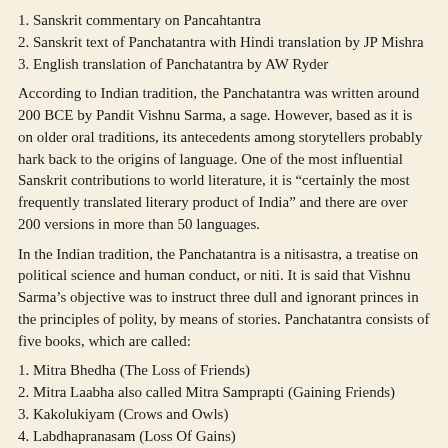1. Sanskrit commentary on Pancahtantra
2. Sanskrit text of Panchatantra with Hindi translation by JP Mishra
3. English translation of Panchatantra by AW Ryder
According to Indian tradition, the Panchatantra was written around 200 BCE by Pandit Vishnu Sarma, a sage. However, based as it is on older oral traditions, its antecedents among storytellers probably hark back to the origins of language. One of the most influential Sanskrit contributions to world literature, it is “certainly the most frequently translated literary product of India” and there are over 200 versions in more than 50 languages.
In the Indian tradition, the Panchatantra is a nitisastra, a treatise on political science and human conduct, or niti. It is said that Vishnu Sarma’s objective was to instruct three dull and ignorant princes in the principles of polity, by means of stories. Panchatantra consists of five books, which are called:
1. Mitra Bhedha (The Loss of Friends)
2. Mitra Laabha also called Mitra Samprapti (Gaining Friends)
3. Kakolukiyam (Crows and Owls)
4. Labdhapranasam (Loss Of Gains)
5. Aparikshitakaraka (Ill-Considered Action / Rash deeds)